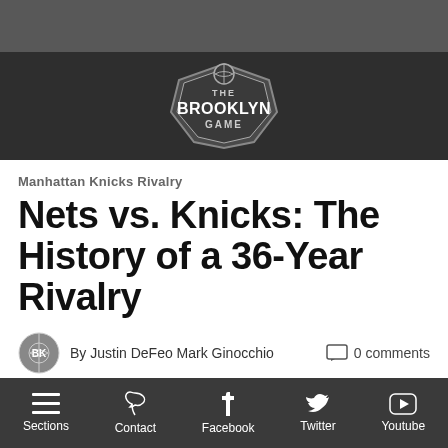[Figure (logo): The Brooklyn Game logo — shield/hexagon shape with basketball on top, white text on dark background]
Manhattan Knicks Rivalry
Nets vs. Knicks: The History of a 36-Year Rivalry
By Justin DeFeo Mark Ginocchio   0 comments
Posted on November 26, 2012
[Figure (photo): Basketball players on court — Knicks player in blue/orange uniform and another player in white uniform]
Sections  Contact  Facebook  Twitter  Youtube